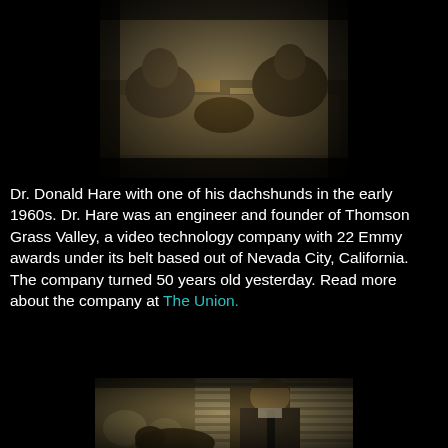[Figure (photo): Sepia-toned vintage photo of Dr. Donald Hare with one of his dachshunds at a cluttered desk or work table, early 1960s.]
Dr. Donald Hare with one of his dachshunds in the early 1960s. Dr. Hare was an engineer and founder of Thomson Grass Valley, a video technology company with 22 Emmy awards under its belt based out of Nevada City, California. The company turned 50 years old yesterday. Read more about the company at The Union.
[Figure (photo): Black-and-white / sepia-toned photo of Dr. Donald Hare, a man in a suit and tie, with a dachshund in the foreground, venetian blinds visible in the background.]